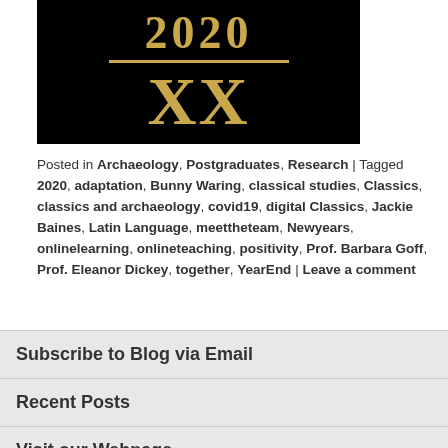[Figure (illustration): Black background image with gold/yellow text showing '2020' above a horizontal line, with 'XX' in large Roman numerals below.]
Posted in Archaeology, Postgraduates, Research | Tagged 2020, adaptation, Bunny Waring, classical studies, Classics, classics and archaeology, covid19, digital Classics, Jackie Baines, Latin Language, meettheteam, Newyears, onlinelearning, onlineteaching, positivity, Prof. Barbara Goff, Prof. Eleanor Dickey, together, YearEnd | Leave a comment
Subscribe to Blog via Email
Recent Posts
Visit our Webpage
Follow us on Facebook